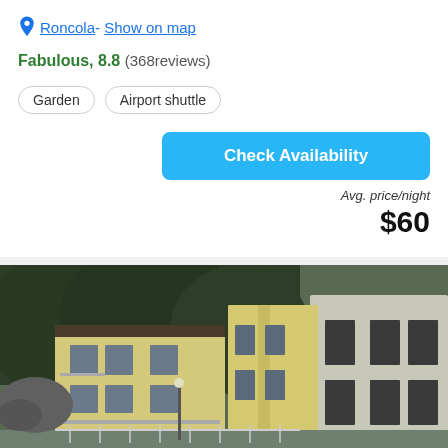Roncola- Show on map
Fabulous, 8.8 (368reviews)
Garden
Airport shuttle
Check Availability
Avg. price/night
$60
[Figure (photo): Exterior view of yellow and grey multi-storey residential buildings surrounded by trees and greenery]